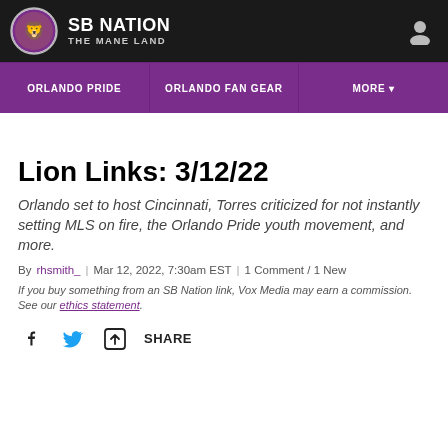SB NATION | THE MANE LAND
ORLANDO PRIDE | ORLANDO FAN GEAR | MORE
Lion Links: 3/12/22
Orlando set to host Cincinnati, Torres criticized for not instantly setting MLS on fire, the Orlando Pride youth movement, and more.
By rhsmith_ | Mar 12, 2022, 7:30am EST | 1 Comment / 1 New
If you buy something from an SB Nation link, Vox Media may earn a commission. See our ethics statement.
SHARE